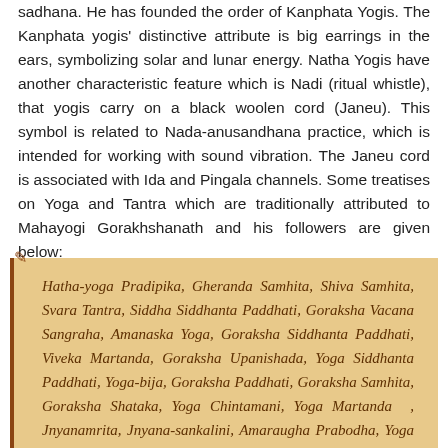sadhana. He has founded the order of Kanphata Yogis. The Kanphata yogis' distinctive attribute is big earrings in the ears, symbolizing solar and lunar energy. Natha Yogis have another characteristic feature which is Nadi (ritual whistle), that yogis carry on a black woolen cord (Janeu). This symbol is related to Nada-anusandhana practice, which is intended for working with sound vibration. The Janeu cord is associated with Ida and Pingala channels. Some treatises on Yoga and Tantra which are traditionally attributed to Mahayogi Gorakhshanath and his followers are given below:
Hatha-yoga Pradipika, Gheranda Samhita, Shiva Samhita, Svara Tantra, Siddha Siddhanta Paddhati, Goraksha Vacana Sangraha, Amanaska Yoga, Goraksha Siddhanta Paddhati, Viveka Martanda, Goraksha Upanishada, Yoga Siddhanta Paddhati, Yoga-bija, Goraksha Paddhati, Goraksha Samhita, Goraksha Shataka, Yoga Chintamani, Yoga Martanda , Jnyanamrita, Jnyana-sankalini, Amaraugha Prabodha, Yoga Mahima, Goraksha Gita, Yoga Siddhanta Paddhati, Atmabodha,